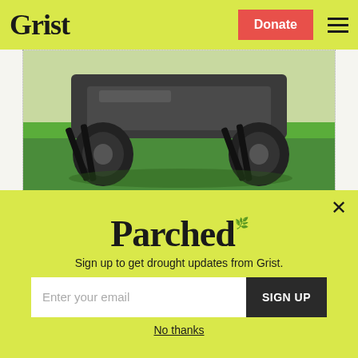Grist | Donate
[Figure (photo): Low-angle close-up photo of a lawn mower on green grass, showing the underside, wheels, and cutting deck.]
Lawns are evil
Jess Zimmerman · Culture
[Figure (infographic): Parched newsletter signup overlay with email input and SIGN UP button on lime-green background]
Sign up to get drought updates from Grist.
No thanks